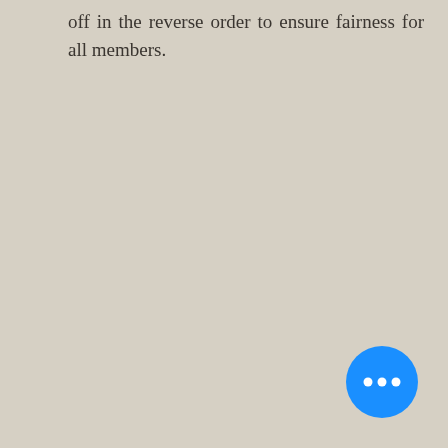off in the reverse order to ensure fairness for all members.
[Figure (other): Blue circular floating action button with three white dots (ellipsis) in the center, positioned at the bottom right of the screen.]